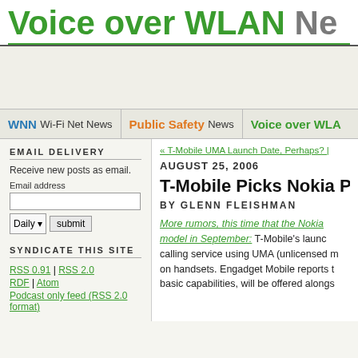Voice over WLAN Ne
WNN Wi-Fi Net News | Public Safety News | Voice over WLA
EMAIL DELIVERY
Receive new posts as email.
Email address
SYNDICATE THIS SITE
RSS 0.91 | RSS 2.0
RDF | Atom
Podcast only feed (RSS 2.0 format)
« T-Mobile UMA Launch Date, Perhaps? |
AUGUST 25, 2006
T-Mobile Picks Nokia Pho…
BY GLENN FLEISHMAN
More rumors, this time that the Nokia model in September: T-Mobile's launch calling service using UMA (unlicensed m on handsets. Engadget Mobile reports t basic capabilities, will be offered alongs